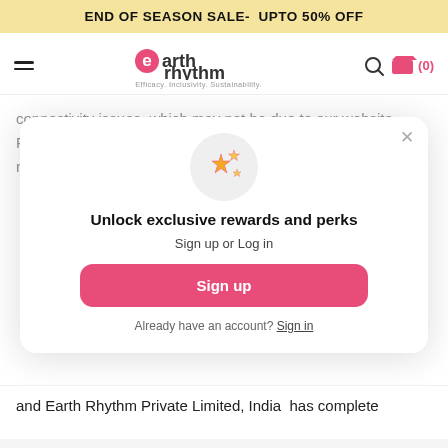END OF SEASON SALE- UPTO 50% OFF
[Figure (screenshot): Earth Rhythm website header with logo, hamburger menu, search icon, and cart icon showing (0)]
connectivity issues, which may not be due to our website. Force Majeure clause will apply and we do not undertake any responsibility for such failures of payment. However we
[Figure (infographic): Modal popup with sparkle stars icon, title 'Unlock exclusive rewards and perks', subtitle 'Sign up or Log in', a pink 'Sign up' button, and text 'Already have an account? Sign in']
and Earth Rhythm Private Limited, India has complete